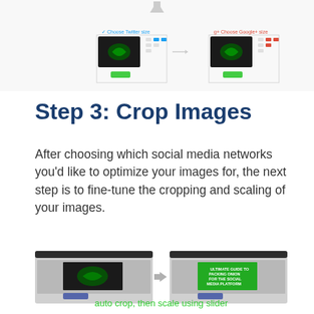[Figure (screenshot): Top portion showing a workflow diagram with three social media platform steps (Twitter, Google+, Facebook) each with a dark image thumbnail and icons, connected by arrows, with green buttons below each step. A downward arrow at top center connects from above.]
Step 3: Crop Images
After choosing which social media networks you’d like to optimize your images for, the next step is to fine-tune the cropping and scaling of your images.
[Figure (screenshot): Two side-by-side screenshots of a web interface showing 'Crop & Scale Linked Image' dialog. Left screenshot shows a dark/blurry image in the crop area with a blue button below. Right screenshot shows the same interface with a bright green image fully visible after cropping/scaling. A right-pointing arrow between the two screenshots indicates the transition.]
auto crop, then scale using slider